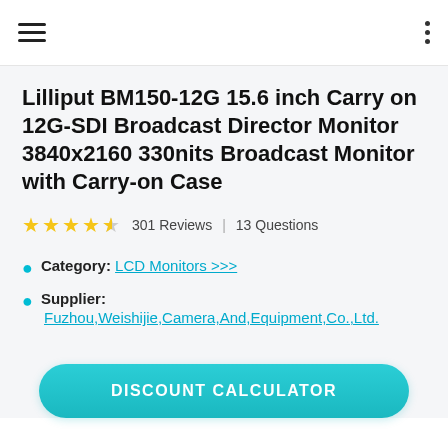Lilliput BM150-12G 15.6 inch Carry on 12G-SDI Broadcast Director Monitor 3840x2160 330nits Broadcast Monitor with Carry-on Case
★★★★☆ 301 Reviews | 13 Questions
Category: LCD Monitors >>>
Supplier: Fuzhou,Weishijie,Camera,And,Equipment,Co.,Ltd.
DISCOUNT CALCULATOR